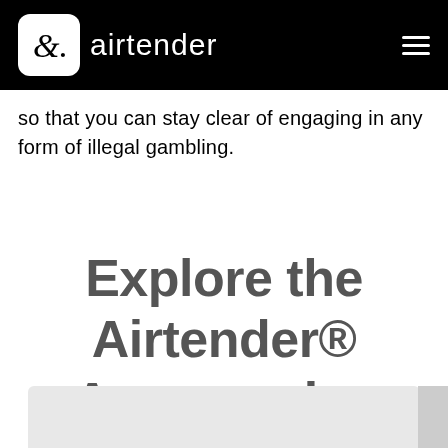[Figure (logo): Airtender logo with ampersand icon on black header bar with hamburger menu icon]
so that you can stay clear of engaging in any form of illegal gambling.
Explore the Airtender® Accessories